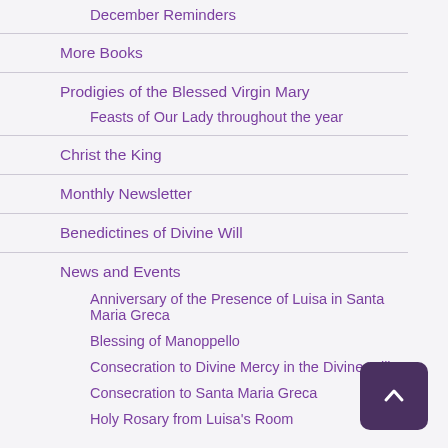December Reminders
More Books
Prodigies of the Blessed Virgin Mary
Feasts of Our Lady throughout the year
Christ the King
Monthly Newsletter
Benedictines of Divine Will
News and Events
Anniversary of the Presence of Luisa in Santa Maria Greca
Blessing of Manoppello
Consecration to Divine Mercy in the Divine Will
Consecration to Santa Maria Greca
Holy Rosary from Luisa's Room